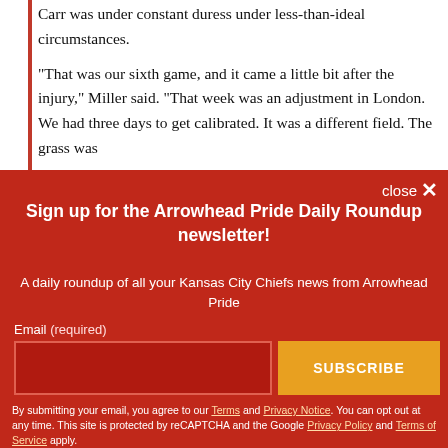Carr was under constant duress under less-than-ideal circumstances.
“That was our sixth game, and it came a little bit after the injury,” Miller said. “That week was an adjustment in London. We had three days to get calibrated. It was a different field. The grass was
Sign up for the Arrowhead Pride Daily Roundup newsletter!
A daily roundup of all your Kansas City Chiefs news from Arrowhead Pride
Email (required)
SUBSCRIBE
By submitting your email, you agree to our Terms and Privacy Notice. You can opt out at any time. This site is protected by reCAPTCHA and the Google Privacy Policy and Terms of Service apply.